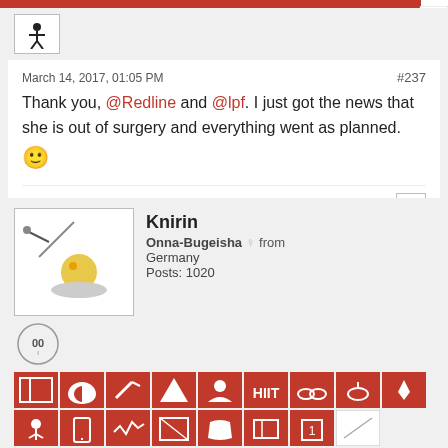[Figure (screenshot): Red icon toolbar row at top, partially cropped]
[Figure (screenshot): Small avatar icon with martial arts figure]
March 14, 2017, 01:05 PM
#237
Thank you, @Redline and @lpf. I just got the news that she is out of surgery and everything went as planned. 🙂
Likes  6
[Figure (screenshot): Forum user profile sidebar: avatar image of person balancing, username Knirin, rank Onna-Bugeisha, gender female, from Germany, Posts: 1020, badges and red icon toolbar]
March 15, 2017, 07:24 AM
#238
Today: Flexibility Week, Day 6 - Bowman